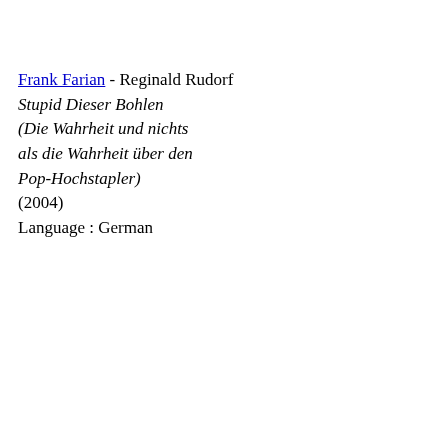Frank Farian - Reginald Rudorf Stupid Dieser Bohlen (Die Wahrheit und nichts als die Wahrheit über den Pop-Hochstapler) (2004) Language : German